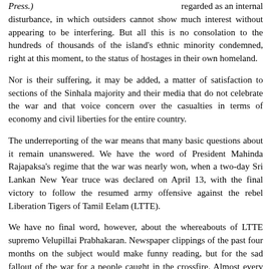Press.) regarded as an internal disturbance, in which outsiders cannot show much interest without appearing to be interfering. But all this is no consolation to the hundreds of thousands of the island's ethnic minority condemned, right at this moment, to the status of hostages in their own homeland.
Nor is their suffering, it may be added, a matter of satisfaction to sections of the Sinhala majority and their media that do not celebrate the war and that voice concern over the casualties in terms of economy and civil liberties for the entire country.
The underreporting of the war means that many basic questions about it remain unanswered. We have the word of President Mahinda Rajapaksa's regime that the war was nearly won, when a two-day Sri Lankan New Year truce was declared on April 13, with the final victory to follow the resumed army offensive against the rebel Liberation Tigers of Tamil Eelam (LTTE).
We have no final word, however, about the whereabouts of LTTE supremo Velupillai Prabhakaran. Newspaper clippings of the past four months on the subject would make funny reading, but for the sad fallout of the war for a people caught in the crossfire. Almost every day has brought a new theory about the elusive "Thalaivar (Leader)."